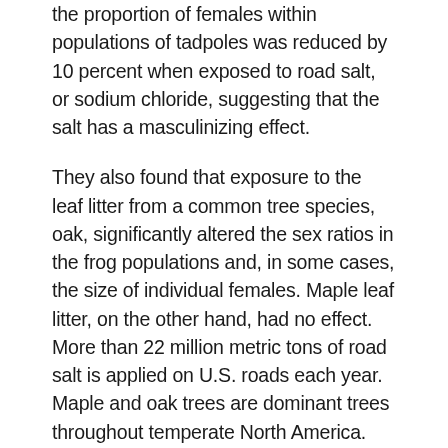the proportion of females within populations of tadpoles was reduced by 10 percent when exposed to road salt, or sodium chloride, suggesting that the salt has a masculinizing effect.
They also found that exposure to the leaf litter from a common tree species, oak, significantly altered the sex ratios in the frog populations and, in some cases, the size of individual females. Maple leaf litter, on the other hand, had no effect. More than 22 million metric tons of road salt is applied on U.S. roads each year. Maple and oak trees are dominant trees throughout temperate North America.
“Many scientists have studied similar effects from exposure to pharmaceuticals and pesticides, but now we’re seeing it from chemicals found in